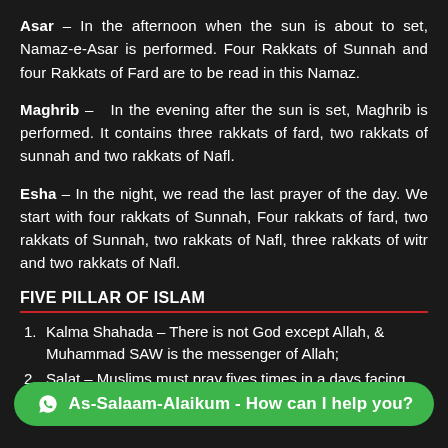Asar – In the afternoon when the sun is about to set, Namaz-e-Asar is performed. Four Rakkats of Sunnah and four Rakkats of Fard are to be read in this Namaz.
Maghrib – In the evening after the sun is set, Maghrib is performed. It contains three rakkats of fard, two rakkats of sunnah and two rakkats of Nafl.
Esha – In the night, we read the last prayer of the day. We start with four rakkats of Sunnah, Four rakkats of fard, two rakkats of Sunnah, two rakkats of Nafl, three rakkats of witr and two rakkats of Nafl.
FIVE PILLAR OF ISLAM
Kalma Shahada – There is not God except Allah, & Muhammad SAW is the messenger of Allah;
Salat – Muslims must pray fives times in a days facing towards
proportion of their earnings to the needy ones as per the Islamic